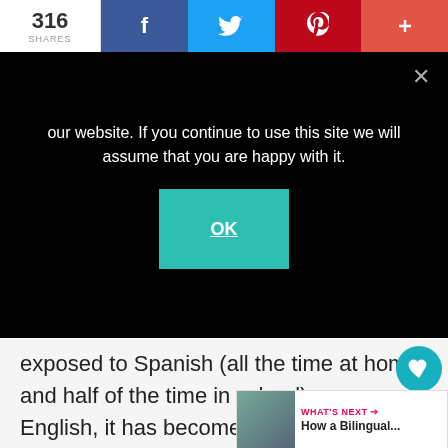316 SHARES | f | tweet | Pinterest | +
our website. If you continue to use this site we will assume that you are happy with it.
OK
exposed to Spanish (all the time at home and half of the time in school) versus English, it has become my most natural language to speak even when I am fluent in English as well. On the other hand, my husband’s native language is Russian. He grew up in Russia speaking only that language up until he came to the years ago. Starting from very basic
WHAT’S NEXT → How a Bilingual...